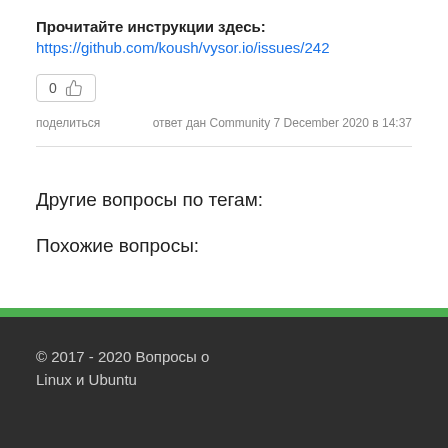Прочитайте инструкции здесь:
https://github.com/koush/vysor.io/issues/242
0 👍
поделиться   ответ дан Community 7 December 2020 в 14:37
Другие вопросы по тегам:
Похожие вопросы:
© 2017 - 2020 Вопросы о Linux и Ubuntu